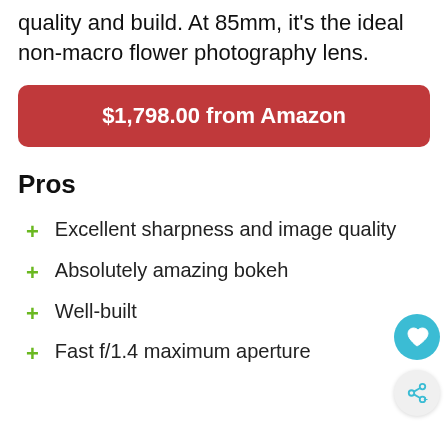quality and build. At 85mm, it’s the ideal non-macro flower photography lens.
$1,798.00 from Amazon
Pros
Excellent sharpness and image quality
Absolutely amazing bokeh
Well-built
Fast f/1.4 maximum aperture